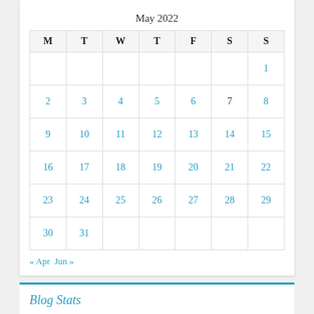May 2022
| M | T | W | T | F | S | S |
| --- | --- | --- | --- | --- | --- | --- |
|  |  |  |  |  |  | 1 |
| 2 | 3 | 4 | 5 | 6 | 7 | 8 |
| 9 | 10 | 11 | 12 | 13 | 14 | 15 |
| 16 | 17 | 18 | 19 | 20 | 21 | 22 |
| 23 | 24 | 25 | 26 | 27 | 28 | 29 |
| 30 | 31 |  |  |  |  |  |
« Apr  Jun »
Blog Stats
106,998 hits